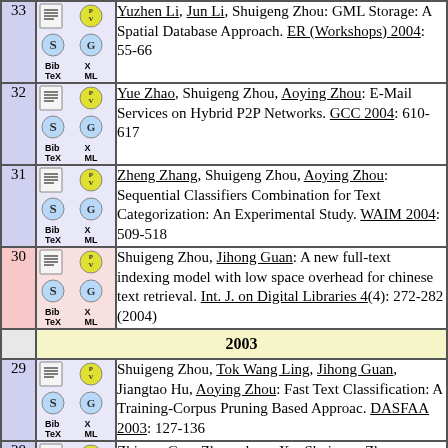| # | Icons | Reference |
| --- | --- | --- |
| 33 | [icons] | Yuzhen Li, Jun Li, Shuigeng Zhou: GML Storage: A Spatial Database Approach. ER (Workshops) 2004: 55-66 |
| 32 | [icons] | Yue Zhao, Shuigeng Zhou, Aoying Zhou: E-Mail Services on Hybrid P2P Networks. GCC 2004: 610-617 |
| 31 | [icons] | Zheng Zhang, Shuigeng Zhou, Aoying Zhou: Sequential Classifiers Combination for Text Categorization: An Experimental Study. WAIM 2004: 509-518 |
| 30 | [icons] | Shuigeng Zhou, Jihong Guan: A new full-text indexing model with low space overhead for chinese text retrieval. Int. J. on Digital Libraries 4(4): 272-282 (2004) |
|  |  | 2003 |
| 29 | [icons] | Shuigeng Zhou, Tok Wang Ling, Jihong Guan, Jiangtao Hu, Aoying Zhou: Fast Text Classification: A Training-Corpus Pruning Based Approac. DASFAA 2003: 127-136 |
| 28 | [icons] | Zhimao Guo, Zhengchuan Xu, Shuigeng Zhou, Aoying Zhou, Ming Li: Index Selection for Efficient XML Path Expression Processing. ER (Workshops) |